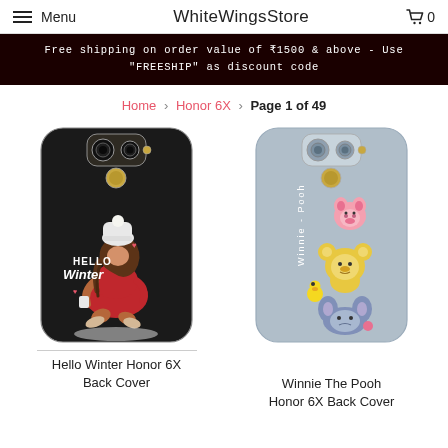Menu  WhiteWingsStore  🛒 0
Free shipping on order value of ₹1500 & above - Use "FREESHIP" as discount code
Home > Honor 6X > Page 1 of 49
[Figure (photo): Hello Winter Honor 6X Back Cover phone case — black case with girl in red outfit and white winter hat, text reads HELLO Winter]
Hello Winter Honor 6X Back Cover
[Figure (photo): Winnie The Pooh Honor 6X Back Cover phone case — light blue/grey case with cartoon Winnie the Pooh characters]
Winnie The Pooh Honor 6X Back Cover